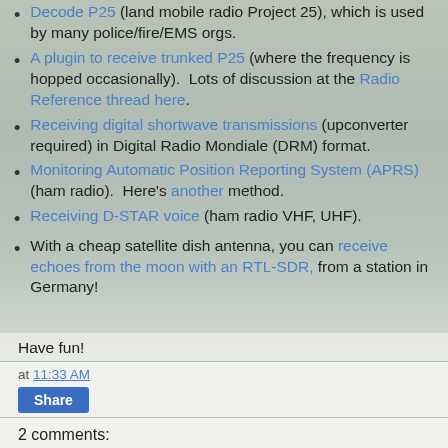Decode P25 (land mobile radio Project 25), which is used by many police/fire/EMS orgs.
A plugin to receive trunked P25 (where the frequency is hopped occasionally). Lots of discussion at the Radio Reference thread here.
Receiving digital shortwave transmissions (upconverter required) in Digital Radio Mondiale (DRM) format.
Monitoring Automatic Position Reporting System (APRS) (ham radio). Here's another method.
Receiving D-STAR voice (ham radio VHF, UHF).
With a cheap satellite dish antenna, you can receive echoes from the moon with an RTL-SDR, from a station in Germany!
Have fun!
at 11:33 AM
Share
2 comments: